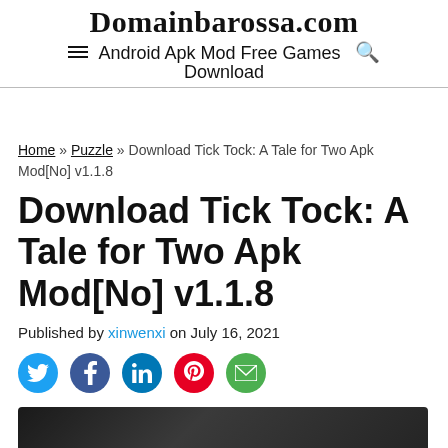Domainbarossa.com — Android Apk Mod Free Games Download
Home » Puzzle » Download Tick Tock: A Tale for Two Apk Mod[No] v1.1.8
Download Tick Tock: A Tale for Two Apk Mod[No] v1.1.8
Published by xinwenxi on July 16, 2021
[Figure (screenshot): Social share icons: Twitter, Facebook, LinkedIn, Pinterest, Email]
[Figure (photo): Game screenshot showing dark background with artistic elements]